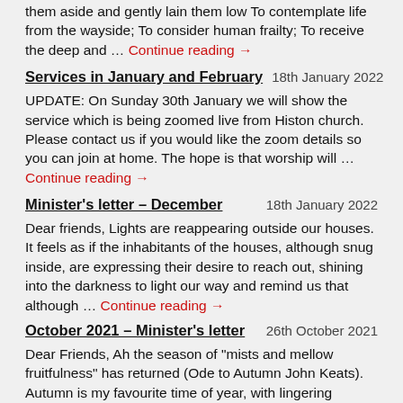them aside and gently lain them low To contemplate life from the wayside; To consider human frailty; To receive the deep and … Continue reading →
Services in January and February   18th January 2022
UPDATE: On Sunday 30th January we will show the service which is being zoomed live from Histon church. Please contact us if you would like the zoom details so you can join at home. The hope is that worship will … Continue reading →
Minister's letter – December   18th January 2022
Dear friends, Lights are reappearing outside our houses. It feels as if the inhabitants of the houses, although snug inside, are expressing their desire to reach out, shining into the darkness to light our way and remind us that although … Continue reading →
October 2021 – Minister's letter   26th October 2021
Dear Friends, Ah the season of "mists and mellow fruitfulness" has returned (Ode to Autumn John Keats). Autumn is my favourite time of year, with lingering warmth and coolness that is just enough for me to find … Continue reading →